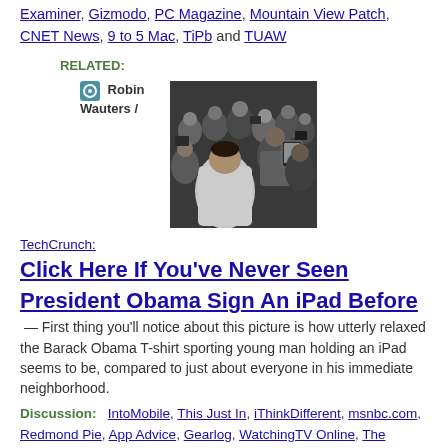Examiner, Gizmodo, PC Magazine, Mountain View Patch, CNET News, 9 to 5 Mac, TiPb and TUAW
RELATED:
Robin Wauters /
[Figure (photo): Crowd photo showing people surrounding someone signing an iPad, man in white shirt visible from behind, crowd of people with cameras]
TechCrunch: Click Here If You've Never Seen President Obama Sign An iPad Before — First thing you'll notice about this picture is how utterly relaxed the Barack Obama T-shirt sporting young man holding an iPad seems to be, compared to just about everyone in his immediate neighborhood.
Discussion: IntoMobile, This Just In, iThinkDifferent, msnbc.com, Redmond Pie, App Advice, Gearlog, WatchingTV Online, The Register, Engadget, TUAW, MacStories, SAI,